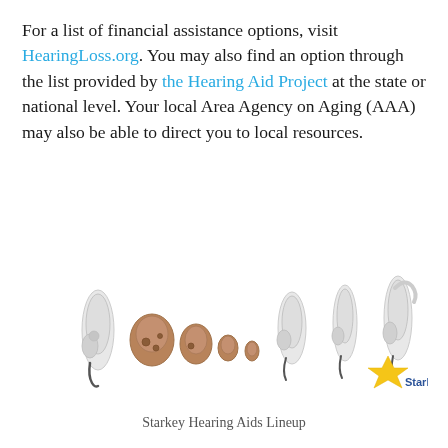For a list of financial assistance options, visit HearingLoss.org. You may also find an option through the list provided by the Hearing Aid Project at the state or national level. Your local Area Agency on Aging (AAA) may also be able to direct you to local resources.
[Figure (photo): A lineup of various Starkey hearing aids in different styles and sizes, including behind-the-ear and in-the-ear models, displayed on a white background with the Starkey logo in the lower right.]
Starkey Hearing Aids Lineup